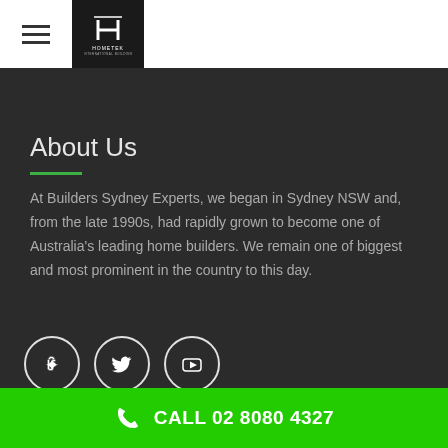[Figure (logo): Hometek logo in white on dark background with H symbol]
About Us
At Builders Sydney Experts, we began in Sydney NSW and, from the late 1990s, had rapidly grown to become one of Australia's leading home builders. We remain one of biggest and most prominent in the country to this day.
[Figure (infographic): Three social media icon circles: Yelp, Twitter, YouTube]
CALL 02 8080 4327